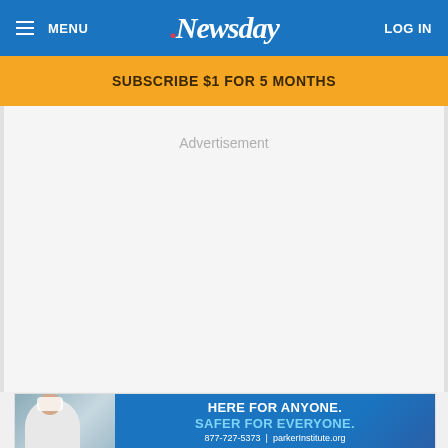MENU | Newsday | LOG IN
SUBSCRIBE $1 FOR 5 MONTHS
Advertisement
[Figure (photo): Bottom advertisement banner for Parker Institute featuring a nurse in a mask and text: HERE FOR ANYONE. SAFER FOR EVERYONE. 877-727-5373 | parkerInstitute.org]